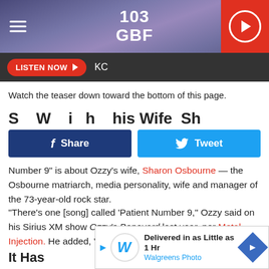103 GBF
LISTEN NOW  KC
Watch the teaser down toward the bottom of this page.
S... W... i... h... h... W... Sh...
Share  Tweet
Number 9" is about Ozzy's wife, Sharon Osbourne — the Osbourne matriarch, media personality, wife and manager of the 73-year-old rock star.
"There's one [song] called 'Patient Number 9," Ozzy said on his Sirius XM show Ozzy's Boneyard last year, per Metal Injection. He added, "It's one we wrote about Sharon and I."
It Has
[Figure (screenshot): Walgreens Photo advertisement: Delivered in as Little as 1 Hr, Walgreens Photo]